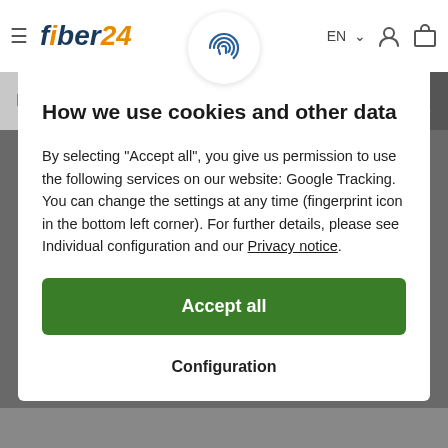[Figure (screenshot): Fiber24 website header with hamburger menu, logo, EN language selector, user icon, and cart icon]
[Figure (screenshot): Search bar with Find placeholder text and magnifying glass button]
[Figure (screenshot): Cookie consent modal dialog with fingerprint icon, title, description, Accept all button, and Configuration button]
How we use cookies and other data
By selecting "Accept all", you give us permission to use the following services on our website: Google Tracking. You can change the settings at any time (fingerprint icon in the bottom left corner). For further details, please see Individual configuration and our Privacy notice.
Accept all
Configuration